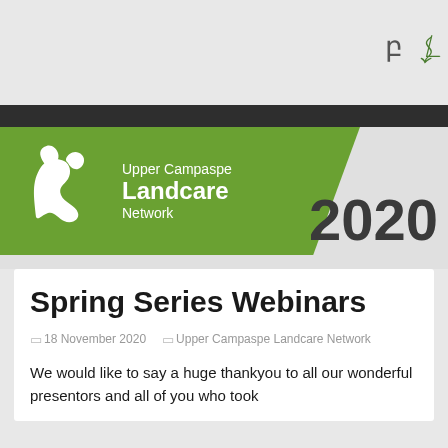Upper Campaspe Landcare Network
[Figure (logo): Upper Campaspe Landcare Network logo — green banner with white hands-forming-Australia icon and organization name in white text, with '2020' year label]
Spring Series Webinars
18 November 2020   Upper Campaspe Landcare Network
We would like to say a huge thankyou to all our wonderful presentors and all of you who took